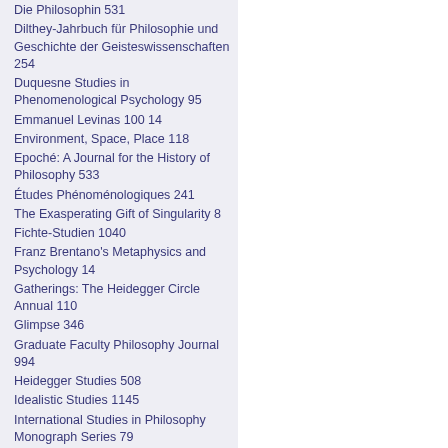Die Philosophin 531
Dilthey-Jahrbuch für Philosophie und Geschichte der Geisteswissenschaften 254
Duquesne Studies in Phenomenological Psychology 95
Emmanuel Levinas 100 14
Environment, Space, Place 118
Epoché: A Journal for the History of Philosophy 533
Études Phénoménologiques 241
The Exasperating Gift of Singularity 8
Fichte-Studien 1040
Franz Brentano's Metaphysics and Psychology 14
Gatherings: The Heidegger Circle Annual 110
Glimpse 346
Graduate Faculty Philosophy Journal 994
Heidegger Studies 508
Idealistic Studies 1145
International Studies in Philosophy Monograph Series 79